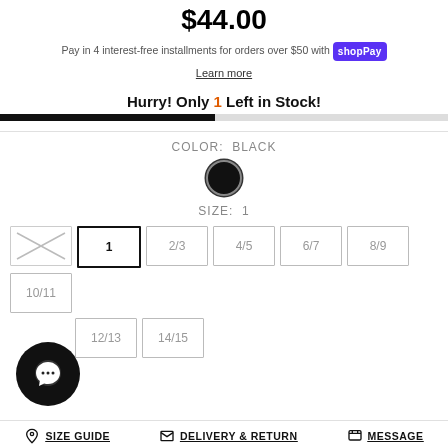$44.00
Pay in 4 interest-free installments for orders over $50 with shop Pay
Learn more
Hurry! Only 1 Left in Stock!
COLOR:  BLACK
SIZE:  1
Size options: (crossed), 1, 2/3, 4/5, 6/7, 8/9, 10/11, 12/13, 14/15
SIZE GUIDE  DELIVERY & RETURN  MESSAGE